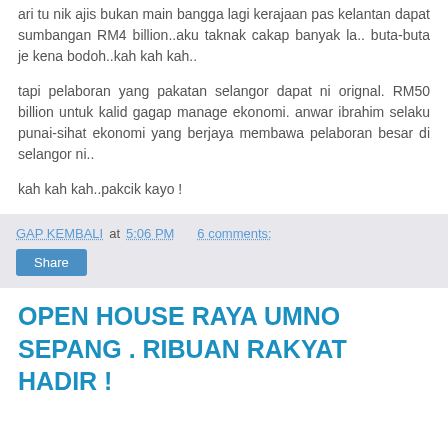ari tu nik ajis bukan main bangga lagi kerajaan pas kelantan dapat sumbangan RM4 billion..aku taknak cakap banyak la.. buta-buta je kena bodoh..kah kah kah..
tapi pelaboran yang pakatan selangor dapat ni orignal. RM50 billion untuk kalid gagap manage ekonomi. anwar ibrahim selaku punai-sihat ekonomi yang berjaya membawa pelaboran besar di selangor ni..
kah kah kah..pakcik kayo !
GAP KEMBALI at 5:06 PM   6 comments:
OPEN HOUSE RAYA UMNO SEPANG . RIBUAN RAKYAT HADIR !